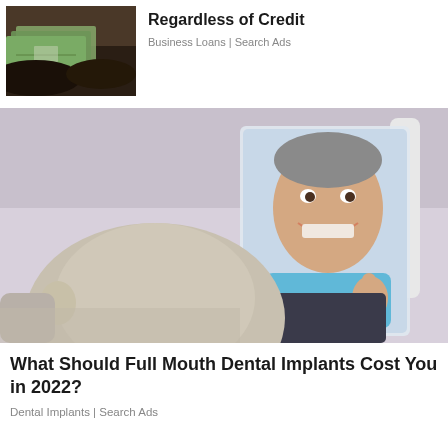[Figure (photo): Hands exchanging dollar bills, money/cash transfer image]
Regardless of Credit
Business Loans | Search Ads
[Figure (photo): Dental patient looking in hand mirror at smiling dentist reflection, dental clinic setting]
What Should Full Mouth Dental Implants Cost You in 2022?
Dental Implants | Search Ads